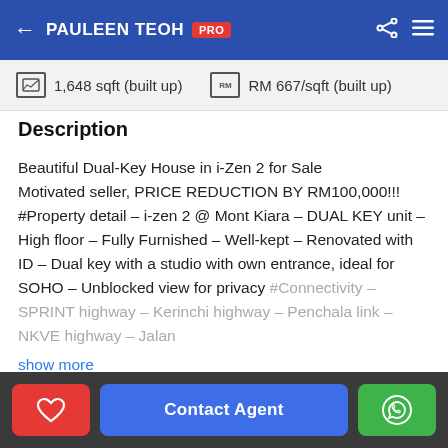PAULEEN TEOH PRO
1,648 sqft (built up)   RM 667/sqft (built up)
Description
Beautiful Dual-Key House in i-Zen 2 for Sale
Motivated seller, PRICE REDUCTION BY RM100,000!!!
#Property detail - i-zen 2 @ Mont Kiara - DUAL KEY unit - High floor - Fully Furnished - Well-kept - Renovated with ID - Dual key with a studio with own entrance, ideal for SOHO - Unblocked view for privacy #Connectivity - SPRINT highway - Kerinchi highway - Penchala link - NKVE highway - Jalan
show more